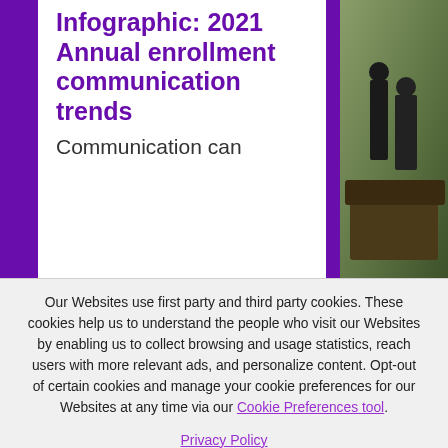Infographic: 2021 Annual enrollment communication trends
Communication can
Our Websites use first party and third party cookies. These cookies help us to understand the people who visit our Websites by enabling us to collect browsing and usage statistics, reach users with more relevant ads, and personalize content. Opt-out of certain cookies and manage your cookie preferences for our Websites at any time via our Cookie Preferences tool.
Privacy Policy
OK